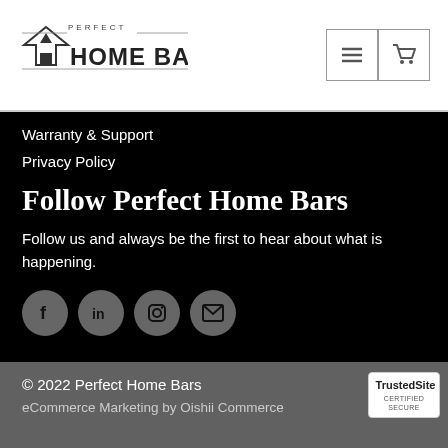[Figure (logo): Perfect Home Bars logo with house/tree icon and wordmark]
Warranty & Support
Privacy Policy
Follow Perfect Home Bars
Follow us and always be the first to hear about what is happening.
[Figure (infographic): Four social media icon circles: Facebook, LinkedIn, Instagram, Email]
© 2022 Perfect Home Bars
eCommerce Marketing by Oishii Commerce
[Figure (logo): TrustedSite Certified Secure badge]